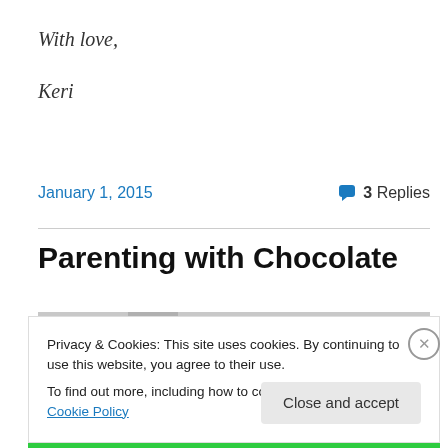With love,
Keri
January 1, 2015
3 Replies
Parenting with Chocolate
Privacy & Cookies: This site uses cookies. By continuing to use this website, you agree to their use.
To find out more, including how to control cookies, see here: Cookie Policy
Close and accept